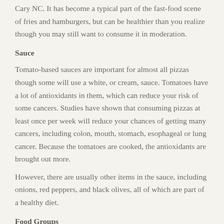Cary NC. It has become a typical part of the fast-food scene of fries and hamburgers, but can be healthier than you realize though you may still want to consume it in moderation.
Sauce
Tomato-based sauces are important for almost all pizzas though some will use a white, or cream, sauce. Tomatoes have a lot of antioxidants in them, which can reduce your risk of some cancers. Studies have shown that consuming pizzas at least once per week will reduce your chances of getting many cancers, including colon, mouth, stomach, esophageal or lung cancer. Because the tomatoes are cooked, the antioxidants are brought out more.
However, there are usually other items in the sauce, including onions, red peppers, and black olives, all of which are part of a healthy diet.
Food Groups